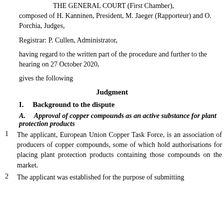THE GENERAL COURT (First Chamber),
composed of H. Kanninen, President, M. Jaeger (Rapporteur) and O. Porchia, Judges,
Registrar: P. Cullen, Administrator,
having regard to the written part of the procedure and further to the hearing on 27 October 2020,
gives the following
Judgment
I.    Background to the dispute
A.    Approval of copper compounds as an active substance for plant protection products
1    The applicant, European Union Copper Task Force, is an association of producers of copper compounds, some of which hold authorisations for placing plant protection products containing those compounds on the market.
2    The applicant was established for the purpose of submitting